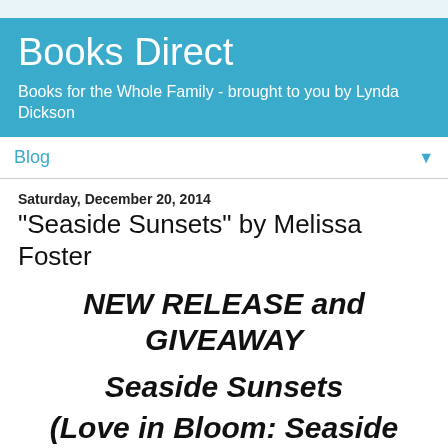Books Direct
Books for the Whole Family - brought to you by Lynda Dickson
Blog
Saturday, December 20, 2014
"Seaside Sunsets" by Melissa Foster
NEW RELEASE and GIVEAWAY
Seaside Sunsets
(Love in Bloom: Seaside Summers Book 3)
by Melissa Foster